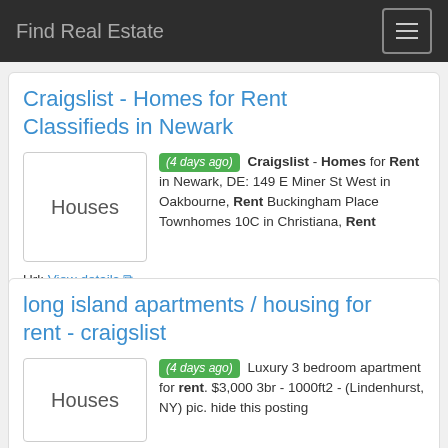Find Real Estate
Craigslist - Homes for Rent Classifieds in Newark
(4 days ago) Craigslist - Homes for Rent in Newark, DE: 149 E Miner St West in Oakbourne, Rent Buckingham Place Townhomes 10C in Christiana, Rent
Url: View details
Category: Real estate
long island apartments / housing for rent - craigslist
(4 days ago) Luxury 3 bedroom apartment for rent. $3,000 3br - 1000ft2 - (Lindenhurst, NY) pic. hide this posting